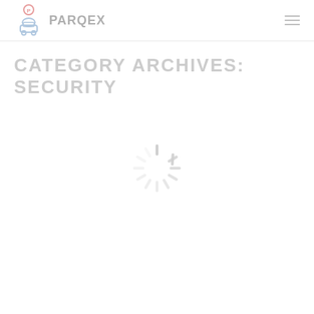PARQEX
CATEGORY ARCHIVES: SECURITY
[Figure (other): Loading spinner graphic — a circular arrangement of gray radial dashes indicating content is loading]